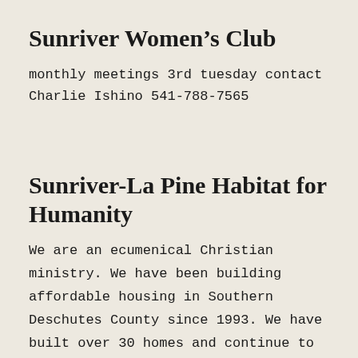Sunriver Women’s Club
monthly meetings 3rd tuesday contact Charlie Ishino 541-788-7565
Sunriver-La Pine Habitat for Humanity
We are an ecumenical Christian ministry. We have been building affordable housing in Southern Deschutes County since 1993. We have built over 30 homes and continue to build more.